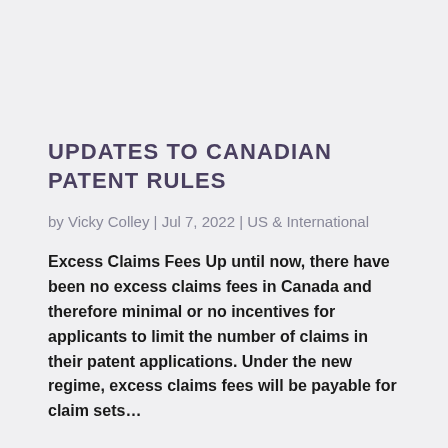UPDATES TO CANADIAN PATENT RULES
by Vicky Colley | Jul 7, 2022 | US & International
Excess Claims Fees Up until now, there have been no excess claims fees in Canada and therefore minimal or no incentives for applicants to limit the number of claims in their patent applications. Under the new regime, excess claims fees will be payable for claim sets…